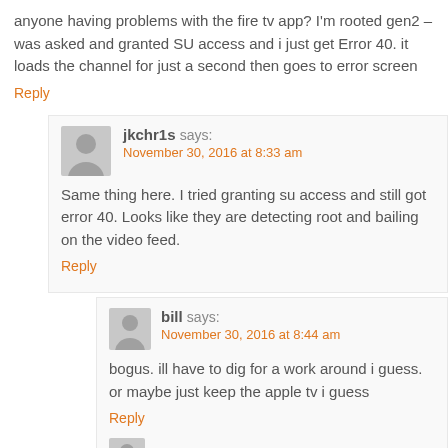anyone having problems with the fire tv app? I'm rooted gen2 – was asked and granted SU access and i just get Error 40. it loads the channel for just a second then goes to error screen
Reply
jkchr1s says:
November 30, 2016 at 8:33 am
Same thing here. I tried granting su access and still got error 40. Looks like they are detecting root and bailing on the video feed.
Reply
bill says:
November 30, 2016 at 8:44 am
bogus. ill have to dig for a work around i guess. or maybe just keep the apple tv i guess
Reply